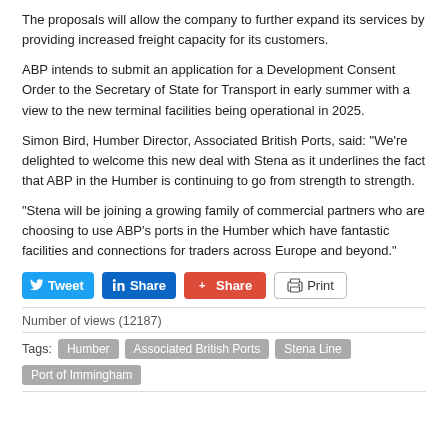The proposals will allow the company to further expand its services by providing increased freight capacity for its customers.
ABP intends to submit an application for a Development Consent Order to the Secretary of State for Transport in early summer with a view to the new terminal facilities being operational in 2025.
Simon Bird, Humber Director, Associated British Ports, said: "We’re delighted to welcome this new deal with Stena as it underlines the fact that ABP in the Humber is continuing to go from strength to strength.
“Stena will be joining a growing family of commercial partners who are choosing to use ABP’s ports in the Humber which have fantastic facilities and connections for traders across Europe and beyond."
[Figure (other): Social sharing buttons: Tweet, LinkedIn Share, Google+ Share, Print]
Number of views (12187)
Tags: Humber, Associated British Ports, Stena Line, Port of Immingham